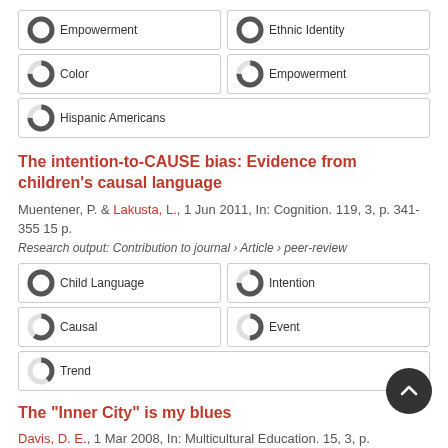100% Empowerment
100% Ethnic Identity
75% Color
75% Empowerment
75% Hispanic Americans
The intention-to-CAUSE bias: Evidence from children's causal language
Muentener, P. & Lakusta, L., 1 Jun 2011, In: Cognition. 119, 3, p. 341-355 15 p.
Research output: Contribution to journal › Article › peer-review
100% Child Language
75% Intention
60% Causal
50% Event
40% Trend
The "Inner City" is my blues
Davis, D. E., 1 Mar 2008, In: Multicultural Education. 15, 3, p.